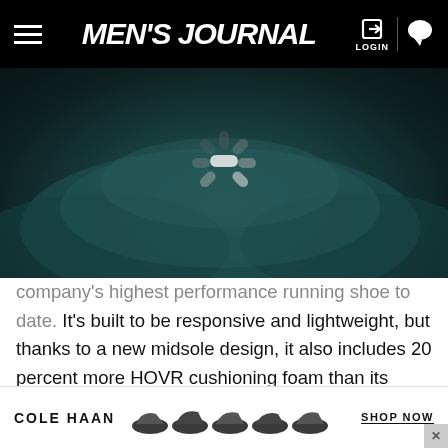MEN'S JOURNAL
[Figure (photo): Dark teal cloud background with a loading spinner overlay]
company's highest performance running shoe to date. It's built to be responsive and lightweight, but thanks to a new midsole design, it also includes 20 percent more HOVR cushioning foam than its stablemate, the HOVR Infinite (it's about the same weight as the Infinite, too). It's part of Under Armour's lineup of connected running shoes, so it comes with a sensor
[Figure (photo): Cole Haan advertisement banner with dress shoes and Shop Now call to action]